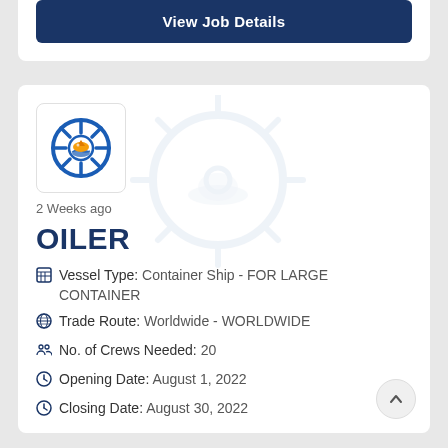View Job Details
[Figure (logo): Ship steering wheel logo with orange ship on blue waves]
2 Weeks ago
OILER
Vessel Type: Container Ship - FOR LARGE CONTAINER
Trade Route: Worldwide - WORLDWIDE
No. of Crews Needed: 20
Opening Date: August 1, 2022
Closing Date: August 30, 2022